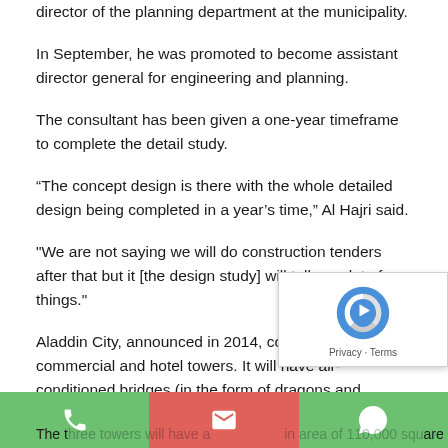director of the planning department at the municipality.
In September, he was promoted to become assistant director general for engineering and planning.
The consultant has been given a one-year timeframe to complete the detail study.
“The concept design is there with the whole detailed design being completed in a year’s time,” Al Hajri said.
"We are not saying we will do construction tenders after that but it [the design study] will tell us a lot of things."
Aladdin City, announced in 2014, consists of three commercial and hotel towers. It will have air-conditioned bridges (in the form of dragons and snakes) with moving floors to connect the towers, driveways and parking lots.
The three towers will have a total area of 110,000 square